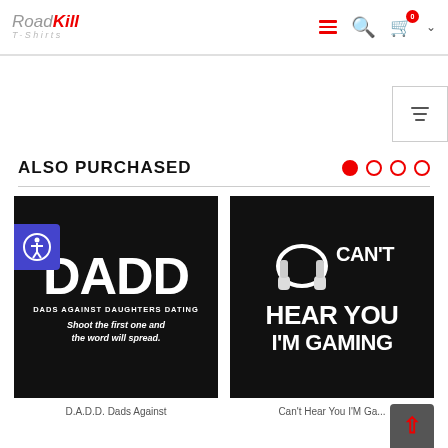RoadKill T-Shirts
ALSO PURCHASED
[Figure (photo): Black t-shirt with DADD text: Dads Against Daughters Dating - Shoot the first one and the word will spread.]
D.A.D.D. Dads Against
[Figure (photo): Black t-shirt with gaming headphones graphic and text: Can't Hear You I'M Gaming]
Can't Hear You I'M Ga...